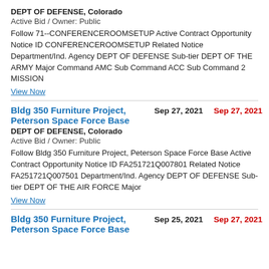DEPT OF DEFENSE, Colorado
Active Bid / Owner: Public
Follow 71--CONFERENCEROOMSETUP Active Contract Opportunity Notice ID CONFERENCEROOMSETUP Related Notice Department/Ind. Agency DEPT OF DEFENSE Sub-tier DEPT OF THE ARMY Major Command AMC Sub Command ACC Sub Command 2 MISSION
View Now
Bldg 350 Furniture Project, Peterson Space Force Base
Sep 27, 2021
Sep 27, 2021
DEPT OF DEFENSE, Colorado
Active Bid / Owner: Public
Follow Bldg 350 Furniture Project, Peterson Space Force Base Active Contract Opportunity Notice ID FA251721Q007801 Related Notice FA251721Q007501 Department/Ind. Agency DEPT OF DEFENSE Sub-tier DEPT OF THE AIR FORCE Major
View Now
Bldg 350 Furniture Project, Peterson Space Force Base
Sep 25, 2021
Sep 27, 2021